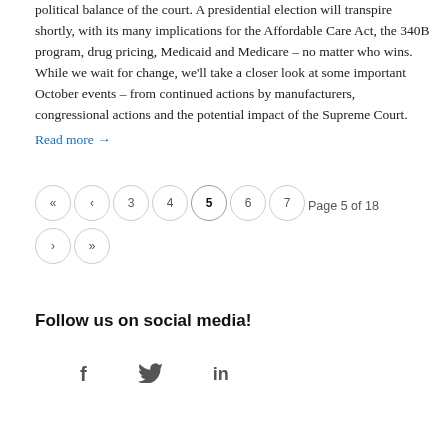political balance of the court. A presidential election will transpire shortly, with its many implications for the Affordable Care Act, the 340B program, drug pricing, Medicaid and Medicare – no matter who wins. While we wait for change, we'll take a closer look at some important October events – from continued actions by manufacturers, congressional actions and the potential impact of the Supreme Court.
Read more →
« ‹ 3 4 5 6 7   Page 5 of 18
› »
Follow us on social media!
[Figure (other): Social media icons: Facebook (f), Twitter (bird), LinkedIn (in)]